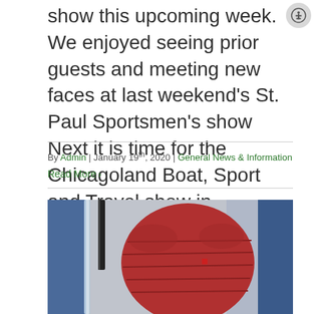show this upcoming week.  We enjoyed seeing prior guests and meeting new faces at last weekend's St. Paul Sportsmen's show   Next it is time for the Chicagoland Boat, Sport and Travel show in Schaumburg starting later this week.  The Schaumburg Convention [...]
By Admin | January 19th, 2020 | General News & Information
Read More ›
[Figure (photo): Photo of a person in a red puffy jacket, with blue fabric visible in the background and a transparent rod or pole in the foreground.]